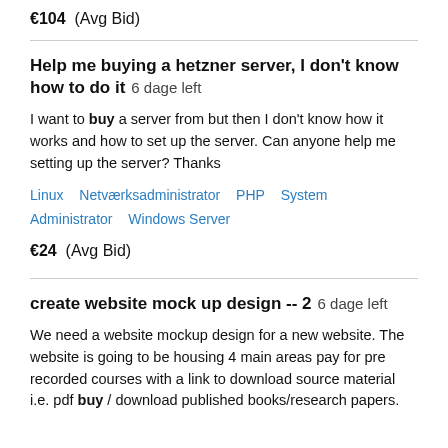€104  (Avg Bid)
Help me buying a hetzner server, I don't know how to do it  6 dage left
I want to buy a server from but then I don't know how it works and how to set up the server. Can anyone help me setting up the server? Thanks
Linux   Netværksadministrator   PHP   System Administrator   Windows Server
€24  (Avg Bid)
create website mock up design -- 2  6 dage left
We need a website mockup design for a new website. The website is going to be housing 4 main areas pay for pre recorded courses with a link to download source material i.e. pdf buy / download published books/research papers.